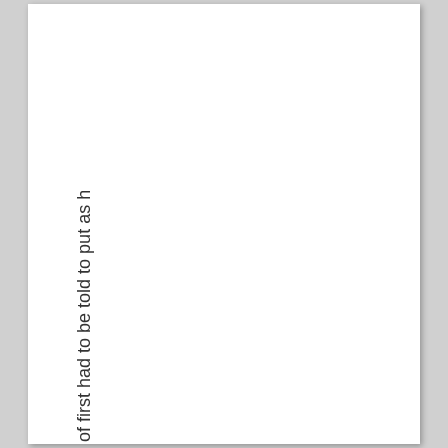of first had to be told to put as h